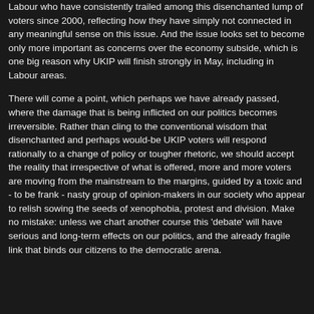Labour who have consistently trailed among this disenchanted lump of voters since 2000, reflecting how they have simply not connected in any meaningful sense on this issue. And the issue looks set to become only more important as concerns over the economy subside, which is one big reason why UKIP will finish strongly in May, including in Labour areas.
There will come a point, which perhaps we have already passed, where the damage that is being inflicted on our politics becomes irreversible. Rather than cling to the conventional wisdom that disenchanted and perhaps would-be UKIP voters will respond rationally to a change of policy or tougher rhetoric, we should accept the reality that irrespective of what is offered, more and more voters are moving from the mainstream to the margins, guided by a toxic and - to be frank - nasty group of opinion-makers in our society who appear to relish sowing the seeds of xenophobia, protest and division. Make no mistake: unless we chart another course this 'debate' will have serious and long-term effects on our politics, and the already fragile link that binds our citizens to the democratic arena.